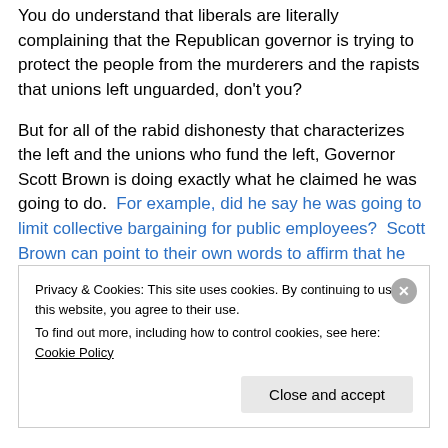You do understand that liberals are literally complaining that the Republican governor is trying to protect the people from the murderers and the rapists that unions left unguarded, don't you?
But for all of the rabid dishonesty that characterizes the left and the unions who fund the left, Governor Scott Brown is doing exactly what he claimed he was going to do.  For example, did he say he was going to limit collective bargaining for public employees?  Scott Brown can point to their own words to affirm that he did:
Privacy & Cookies: This site uses cookies. By continuing to use this website, you agree to their use.
To find out more, including how to control cookies, see here: Cookie Policy